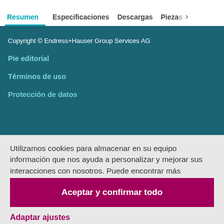Resumen | Especificaciones | Descargas | Piezas >
Copyright © Endress+Hauser Group Services AG
Pie editorial
Términos de uso
Protección de datos
Utilizamos cookies para almacenar en su equipo información que nos ayuda a personalizar y mejorar sus interacciones con nosotros. Puede encontrar más información sobre las cookies en la política de privacidad.
Aceptar y confirmar todo
Adaptar ajustes